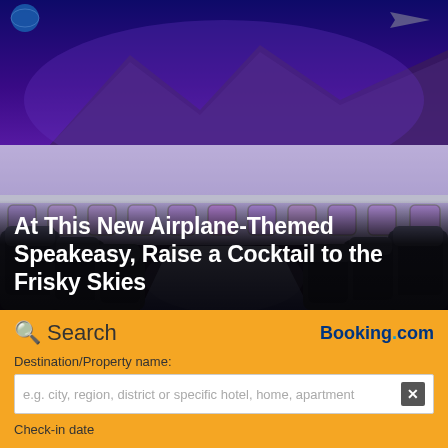[Figure (photo): Interior of an airplane-themed speakeasy bar showing aircraft seats arranged around a glowing blue illuminated table, with airplane windows visible along the walls lit with purple/blue light, and a mountain mural visible above.]
At This New Airplane-Themed Speakeasy, Raise a Cocktail to the Frisky Skies
Search
Booking.com
Destination/Property name:
e.g. city, region, district or specific hotel, home, apartment
Check-in date